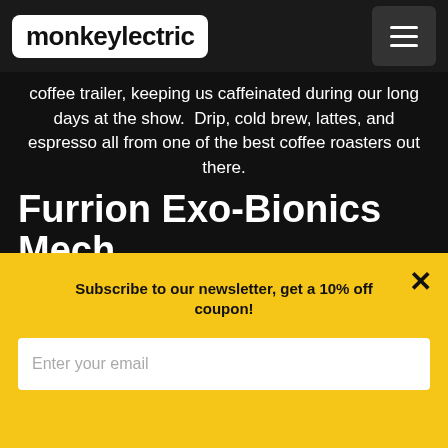monkey lectric
coffee trailer, keeping us caffeinated during our long days at the show.  Drip, cold brew, lattes, and espresso all from one of the best coffee roasters out there.
Furrion Exo-Bionics Mech
[Figure (photo): Outdoor event photo showing a large mechanical exoskeleton structure (Furrion Exo-Bionics Mech) outdoors with green trees in the background and white tent structures visible.]
Subscribe to our newsletter, get a 10% off coupon!
Enter your email